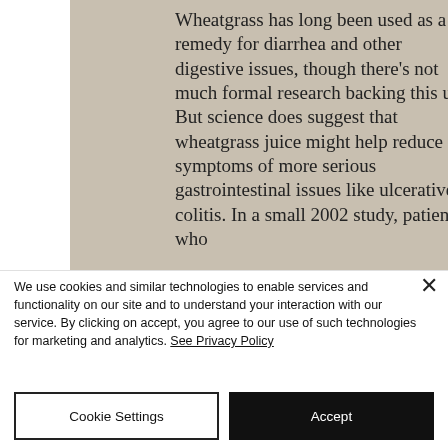Wheatgrass has long been used as a remedy for diarrhea and other digestive issues, though there's not much formal research backing this up. But science does suggest that wheatgrass juice might help reduce symptoms of more serious gastrointestinal issues like ulcerative colitis. In a small 2002 study, patients who
We use cookies and similar technologies to enable services and functionality on our site and to understand your interaction with our service. By clicking on accept, you agree to our use of such technologies for marketing and analytics. See Privacy Policy
Cookie Settings
Accept